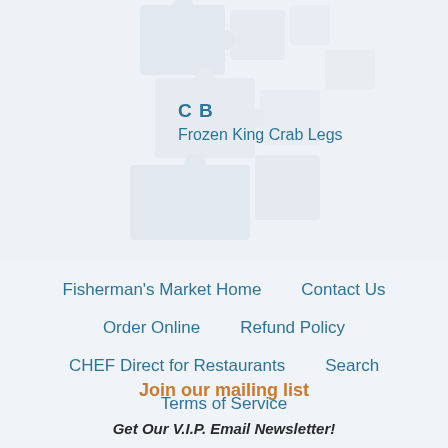[Figure (illustration): Light watermark-style decorative puzzle piece shapes in pale gray/white tones on a light blue-gray background, taking up the upper portion of the page]
C B
Frozen King Crab Legs
Fisherman's Market Home    Contact Us
Order Online    Refund Policy
CHEF Direct for Restaurants    Search
Terms of Service
Join our mailing list
Get Our V.I.P. Email Newsletter!